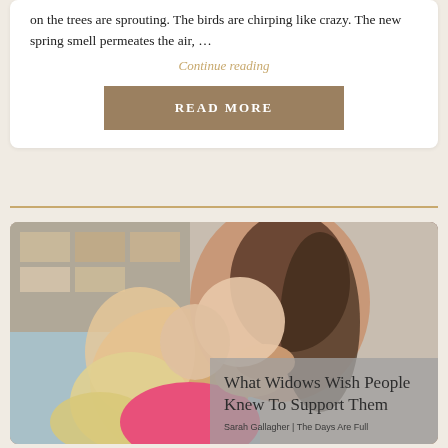on the trees are sprouting. The birds are chirping like crazy. The new spring smell permeates the air, …
Continue reading
READ MORE
[Figure (photo): Two women hugging, one in a pink top with long dark hair, embracing a blonde woman; indoor setting with shelving in background]
What Widows Wish People Knew To Support Them
Sarah Gallagher | The Days Are Full